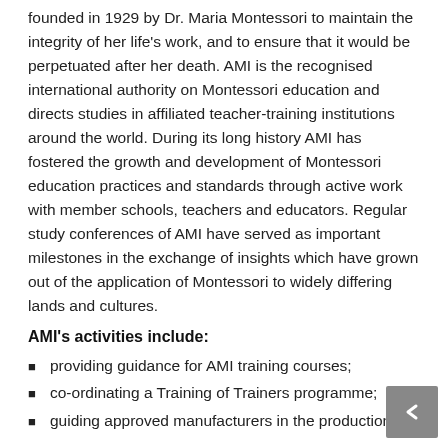founded in 1929 by Dr. Maria Montessori to maintain the integrity of her life's work, and to ensure that it would be perpetuated after her death. AMI is the recognised international authority on Montessori education and directs studies in affiliated teacher-training institutions around the world. During its long history AMI has fostered the growth and development of Montessori education practices and standards through active work with member schools, teachers and educators. Regular study conferences of AMI have served as important milestones in the exchange of insights which have grown out of the application of Montessori to widely differing lands and cultures.
AMI's activities include:
providing guidance for AMI training courses;
co-ordinating a Training of Trainers programme;
guiding approved manufacturers in the production of